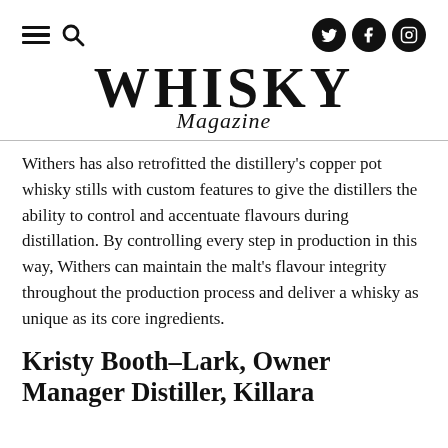WHISKY Magazine
Withers has also retrofitted the distillery's copper pot whisky stills with custom features to give the distillers the ability to control and accentuate flavours during distillation. By controlling every step in production in this way, Withers can maintain the malt's flavour integrity throughout the production process and deliver a whisky as unique as its core ingredients.
Kristy Booth–Lark, Owner Manager Distiller, Killara